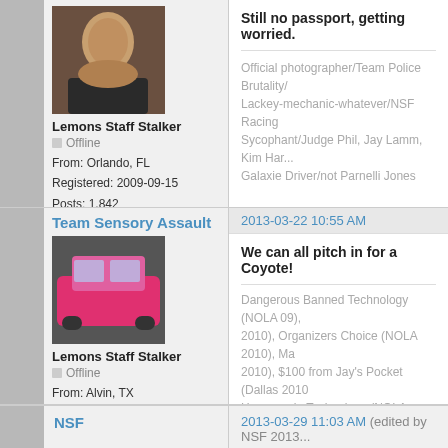Still no passport, getting worried.
Official photographer/Team Police Brutality/ Lackey-mechanic-whatever/NSF Racing Sycophant/Judge Phil, Jay Lamm, Kim Har... Galaxie Driver/not Parnelli Jones
Lemons Staff Stalker
Offline
From: Orlando, FL
Registered: 2009-09-15
Posts: 1,842
Team Sensory Assault
2013-03-22 10:55 AM
We can all pitch in for a Coyote!
Dangerous Banned Technology (NOLA 09), 2010), Organizers Choice (NOLA 2010), Ma 2010), $100 from Jay's Pocket (Dallas 2010 Homemade Technology (NOLA 2010), Unu Lemons Status,  Index of Effluency (Dallas (Houston 2011), Index of Effluency (TWS - Choice (Dallas 2013)
Lemons Staff Stalker
Offline
From: Alvin, TX
Registered: 2010-02-22
Posts: 2,143
NSF
2013-03-29 11:03 AM (edited by NSF 2013...